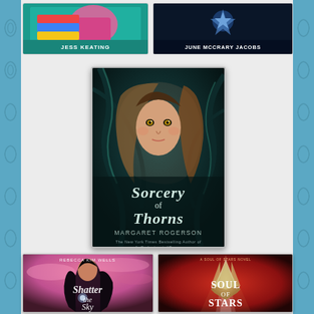[Figure (illustration): Book cover: Jess Keating - top left, partial view with colorful cover]
[Figure (illustration): Book cover: June McCrary Jacobs - top right, partial view with dark cover]
[Figure (illustration): Book cover: Sorcery of Thorns by Margaret Rogerson - center, fantasy cover with girl and thorns]
[Figure (illustration): Book cover: Shatter the Sky by Rebecca Kim Wells - bottom left, girl with dark hair on pink cloudy background]
[Figure (illustration): Book cover: Soul of Stars - bottom right, crystal/crown on red/orange background]